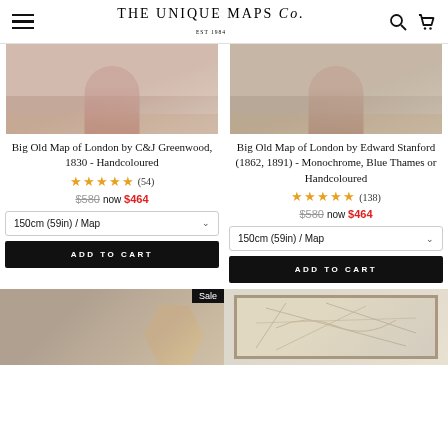THE UNIQUE MAPS Co. EST 1984
[Figure (photo): Product photo of Big Old Map of London by C&J Greenwood, 1830 - Handcoloured, showing map hanging on wall]
Big Old Map of London by C&J Greenwood, 1830 - Handcoloured
★★★★★ (54)
$580 now $464
150cm (59in) / Map ∨
ADD TO CART
[Figure (photo): Product photo of Big Old Map of London by Edward Stanford (1862, 1891) - Monochrome, Blue Thames or Handcoloured, map on wall]
Big Old Map of London by Edward Stanford (1862, 1891) - Monochrome, Blue Thames or Handcoloured
★★★★★ (138)
$580 now $464
150cm (59in) / Map ∨
ADD TO CART
[Figure (photo): Bottom left product photo with Sale badge]
[Figure (photo): Bottom right product photo showing a framed map]